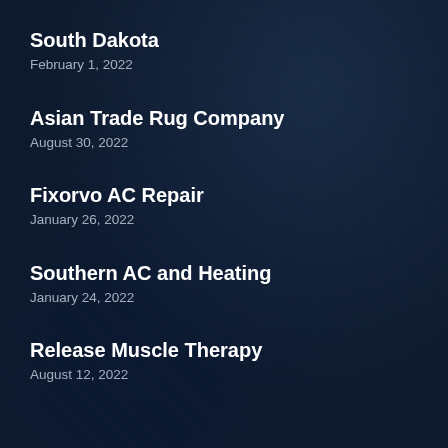South Dakota
February 1, 2022
Asian Trade Rug Company
August 30, 2022
Fixorvo AC Repair
January 26, 2022
Southern AC and Heating
January 24, 2022
Release Muscle Therapy
August 12, 2022